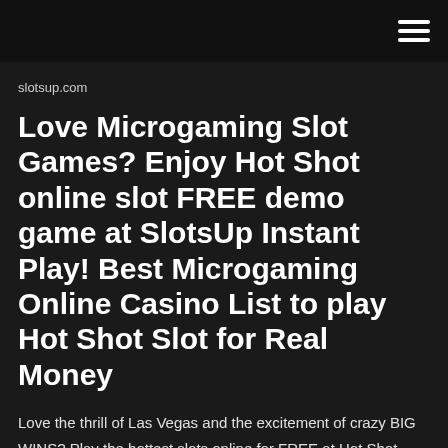slotsup.com
Love Microgaming Slot Games? Enjoy Hot Shot online slot FREE demo game at SlotsUp Instant Play! Best Microgaming Online Casino List to play Hot Shot Slot for Real Money
Love the thrill of Las Vegas and the excitement of crazy BIG WINS? Play the hottest slots online for FREE at Hot Shot Casino! Discover new ways to spin all y...
•